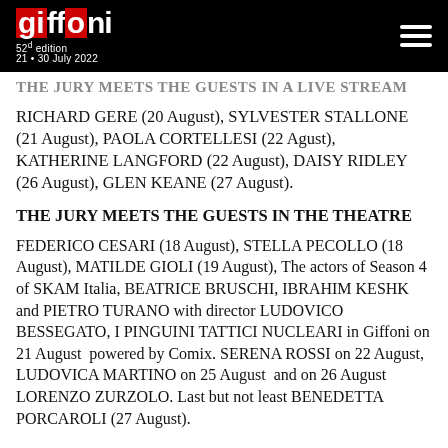GIFFONI 52nd edition 21 • 30 July 2022
THE JURY MEETS THE GUESTS IN A LIVE STREAM
RICHARD GERE (20 August), SYLVESTER STALLONE (21 August), PAOLA CORTELLESI (22 Agust), KATHERINE LANGFORD (22 August), DAISY RIDLEY (26 August), GLEN KEANE (27 August).
THE JURY MEETS THE GUESTS IN THE THEATRE
FEDERICO CESARI (18 August), STELLA PECOLLO (18 August), MATILDE GIOLI (19 August), The actors of Season 4 of SKAM Italia, BEATRICE BRUSCHI, IBRAHIM KESHK and PIETRO TURANO with director LUDOVICO BESSEGATO, I PINGUINI TATTICI NUCLEARI in Giffoni on 21 August  powered by Comix. SERENA ROSSI on 22 August, LUDOVICA MARTINO on 25 August  and on 26 August LORENZO ZURZOLO. Last but not least BENEDETTA PORCAROLI (27 August).